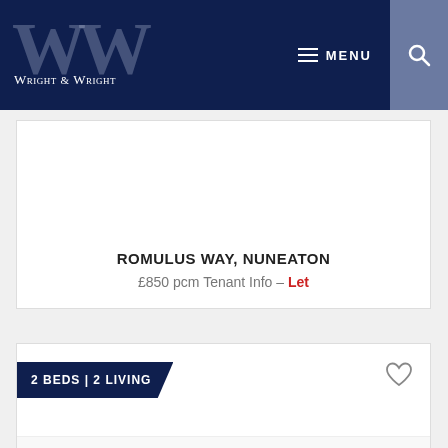Wright & Wright — MENU [search]
ROMULUS WAY, NUNEATON
£850 pcm Tenant Info – Let
2 BEDS | 2 LIVING